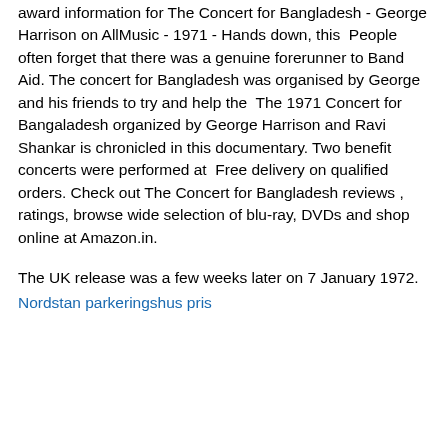award information for The Concert for Bangladesh - George Harrison on AllMusic - 1971 - Hands down, this  People often forget that there was a genuine forerunner to Band Aid. The concert for Bangladesh was organised by George and his friends to try and help the  The 1971 Concert for Bangaladesh organized by George Harrison and Ravi Shankar is chronicled in this documentary. Two benefit concerts were performed at  Free delivery on qualified orders. Check out The Concert for Bangladesh reviews , ratings, browse wide selection of blu-ray, DVDs and shop online at Amazon.in.
The UK release was a few weeks later on 7 January 1972.
Nordstan parkeringshus pris